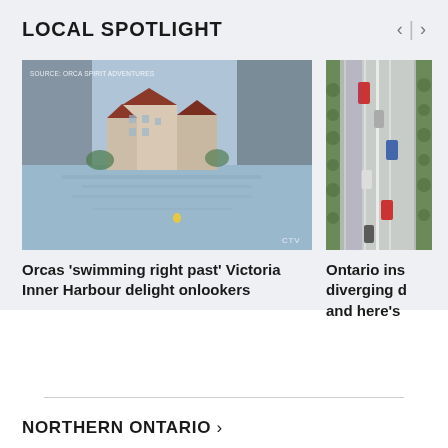LOCAL SPOTLIGHT
[Figure (photo): Video still of Victoria Inner Harbour with waterfront buildings and calm water, blurred edges. Source: Orca Spirit Adventures. CTV watermark.]
Orcas 'swimming right past' Victoria Inner Harbour delight onlookers
[Figure (photo): Aerial or rendered view of Ontario highway interchange with diverging diamond or similar design, cars visible on road, trees alongside.]
Ontario ins diverging d and here's
NORTHERN ONTARIO >